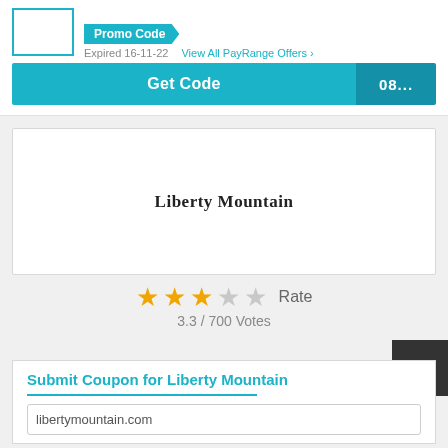[Figure (screenshot): Promo code offer section with logo box, Promo Code badge, expiry date, View All PayRange Offers link, and Get Code button showing '08...']
[Figure (screenshot): Liberty Mountain logo card, white box with text 'Liberty Mountain']
3.3 / 700 Votes
Submit Coupon for Liberty Mountain
libertymountain.com